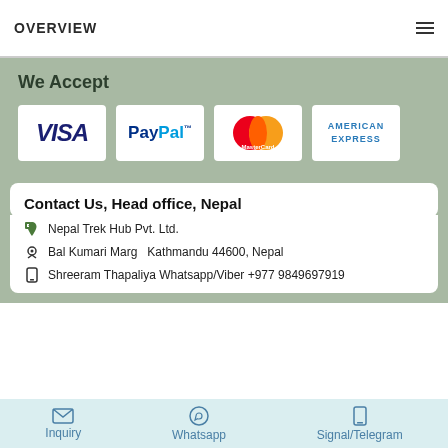OVERVIEW
We Accept
[Figure (logo): Four payment method logos: VISA, PayPal, MasterCard, American Express]
Contact Us, Head office, Nepal
Nepal Trek Hub Pvt. Ltd.
Bal Kumari Marg  Kathmandu 44600, Nepal
Shreeram Thapaliya Whatsapp/Viber +977 9849697919
Inquiry   Whatsapp   Signal/Telegram